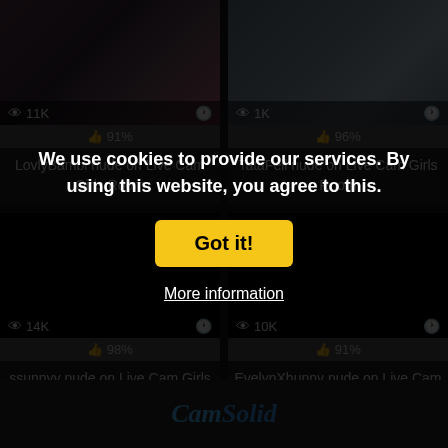[Figure (screenshot): Thumbnail of LovlyBambi live cam with 11K views and 91% rating]
👁 11K
91%
LovlyBambi nude on Live Cam Girls Room
[Figure (screenshot): Thumbnail of TataFeil live cam with 1K views and 96% rating]
👁 1K
96%
TataFeil nude on Live Cam Girls Room
[Figure (screenshot): Thumbnail of ssunnyy live cam with 14K views and 98% rating - dark/black thumbnail]
👁 14K
98%
ssunnyy nude on Live Cam Girls Room
[Figure (screenshot): Thumbnail of EvelynXbunny live cam with 10K views and 91% rating - dark/black thumbnail]
👁 10K
91%
EvelynXbunny nude on Live Cam Girls Room
We use cookies to provide our services. By using this website, you agree to this.
Got it!
More information